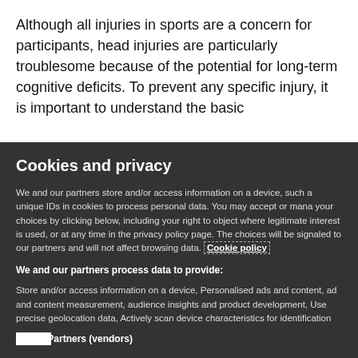Although all injuries in sports are a concern for participants, head injuries are particularly troublesome because of the potential for long-term cognitive deficits. To prevent any specific injury, it is important to understand the basic
Cookies and privacy
We and our partners store and/or access information on a device, such a unique IDs in cookies to process personal data. You may accept or mana your choices by clicking below, including your right to object where legitimate interest is used, or at any time in the privacy policy page. The choices will be signaled to our partners and will not affect browsing data. Cookie policy
We and our partners process data to provide:
Store and/or access information on a device, Personalised ads and content, ad and content measurement, audience insights and product development, Use precise geolocation data, Actively scan device characteristics for identification
List of Partners (vendors)